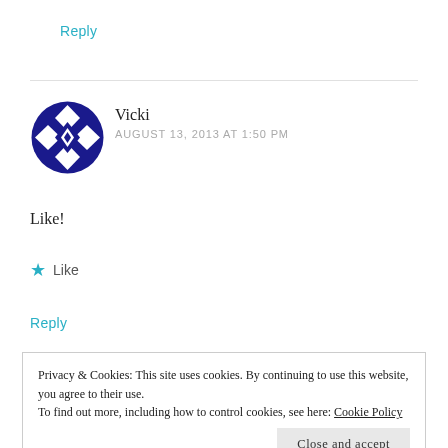Reply
[Figure (illustration): Circular avatar with blue geometric quilt/diamond pattern on white background for user Vicki]
Vicki
AUGUST 13, 2013 AT 1:50 PM
Like!
★ Like
Reply
Privacy & Cookies: This site uses cookies. By continuing to use this website, you agree to their use.
To find out more, including how to control cookies, see here: Cookie Policy
Close and accept